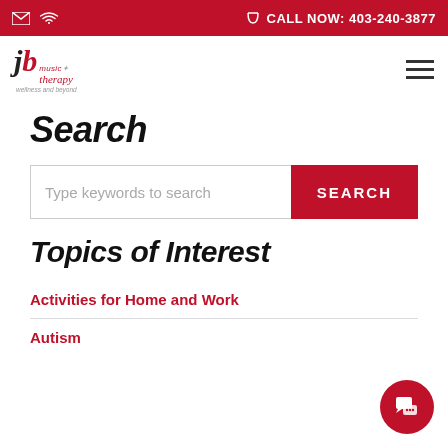CALL NOW: 403-240-3877
[Figure (logo): JB Music Therapy logo with text 'jb music therapy - wellness and beyond']
Search
[Figure (screenshot): Search input bar with placeholder 'Type keywords to search' and a red SEARCH button]
Topics of Interest
Activities for Home and Work
Autism